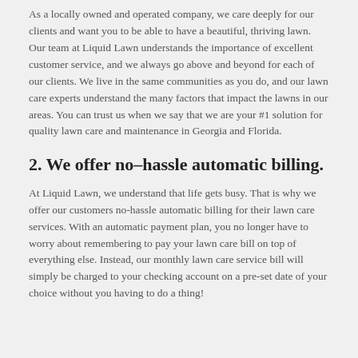As a locally owned and operated company, we care deeply for our clients and want you to be able to have a beautiful, thriving lawn. Our team at Liquid Lawn understands the importance of excellent customer service, and we always go above and beyond for each of our clients. We live in the same communities as you do, and our lawn care experts understand the many factors that impact the lawns in our areas. You can trust us when we say that we are your #1 solution for quality lawn care and maintenance in Georgia and Florida.
2. We offer no–hassle automatic billing.
At Liquid Lawn, we understand that life gets busy. That is why we offer our customers no-hassle automatic billing for their lawn care services. With an automatic payment plan, you no longer have to worry about remembering to pay your lawn care bill on top of everything else. Instead, our monthly lawn care service bill will simply be charged to your checking account on a pre-set date of your choice without you having to do a thing!